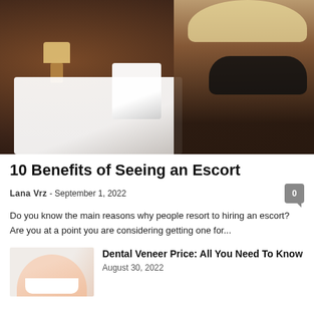[Figure (photo): A woman in a black bra standing in a dimly lit bedroom with a bed and lamp visible in the background.]
10 Benefits of Seeing an Escort
Lana Vrz - September 1, 2022
Do you know the main reasons why people resort to hiring an escort? Are you at a point you are considering getting one for...
[Figure (photo): Close-up of a woman smiling, showing white teeth, used as thumbnail for dental veneer article.]
Dental Veneer Price: All You Need To Know